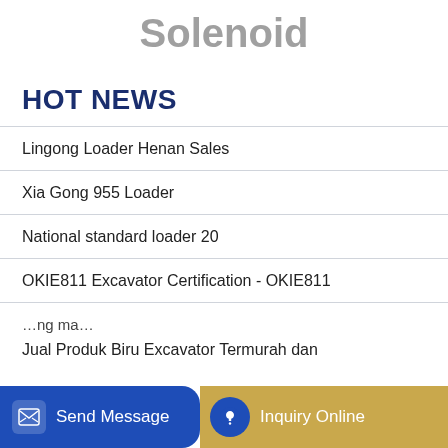Solenoid
HOT NEWS
Lingong Loader Henan Sales
Xia Gong 955 Loader
National standard loader 20
OKIE811 Excavator Certification - OKIE811
…ng ma…
Jual Produk Biru Excavator Termurah dan